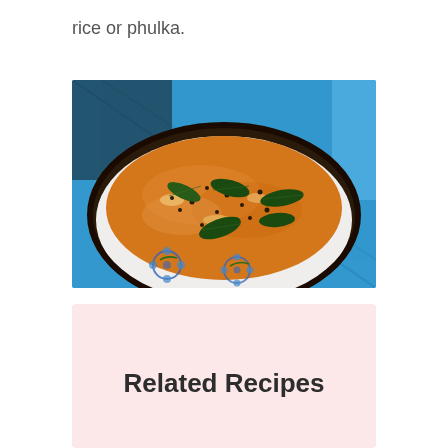rice or phulka.
[Figure (photo): A white ceramic bowl with blue floral pattern filled with an orange-colored dal or curry topped with fresh green curry leaves and black mustard seeds, placed on a blue woven mat background.]
Related Recipes